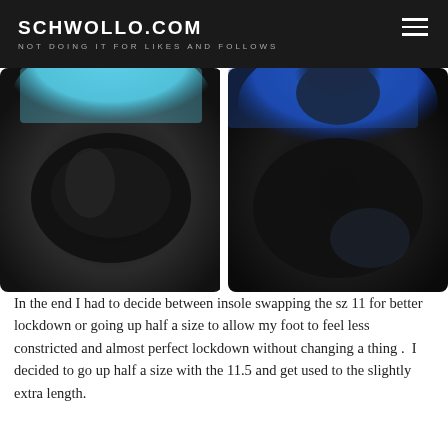SCHWOLLO.COM
NOT DOING IT FOR LIKES AND FOLLOWS
[Figure (photo): Two close-up photos of athletic shoe insoles side by side. Left photo shows a teal/cyan mesh upper with a dark reflective insole visible. Right photo shows a blue mesh upper with a dark foam/cushion pad visible at the heel area.]
In the end I had to decide between insole swapping the sz 11 for better lockdown or going up half a size to allow my foot to feel less constricted and almost perfect lockdown without changing a thing .  I decided to go up half a size with the 11.5 and get used to the slightly extra length.